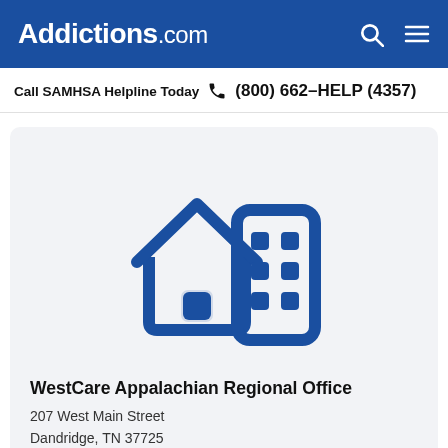Addictions.com
Call SAMHSA Helpline Today  (800) 662-HELP (4357)
[Figure (illustration): Blue icon of a house and office building on a light gray background, representing a treatment facility]
WestCare Appalachian Regional Office
207 West Main Street
Dandridge, TN 37725